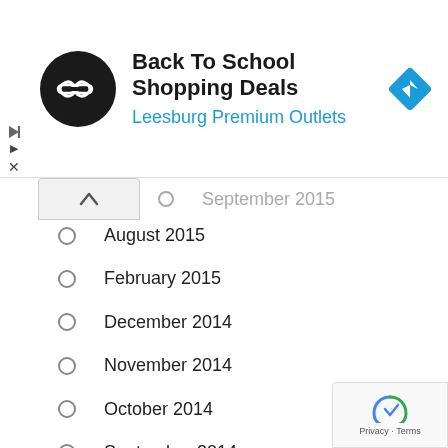[Figure (other): Ad banner: Back To School Shopping Deals at Leesburg Premium Outlets with logo and navigation icon]
September 2015 (partially visible, clipped)
August 2015
February 2015
December 2014
November 2014
October 2014
September 2014
August 2014
July 2014
June 2014
May 2014
April 2014